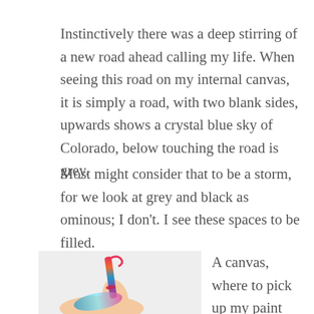Instinctively there was a deep stirring of a new road ahead calling my life. When seeing this road on my internal canvas, it is simply a road, with two blank sides, upwards shows a crystal blue sky of Colorado, below touching the road is grey.
Most might consider that to be a storm, for we look at grey and black as ominous; I don't. I see these spaces to be filled.
[Figure (photo): A colorful painted crochet hook or paint brush being held by a hand, with vibrant blue, pink, and teal colors on the handle.]
A canvas, where to pick up my paint brush